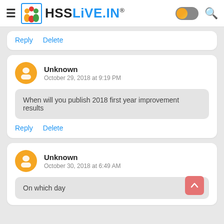HSSLiVE.IN®
Reply   Delete
Unknown
October 29, 2018 at 9:19 PM
When will you publish 2018 first year improvement results
Reply   Delete
Unknown
October 30, 2018 at 6:49 AM
On which day